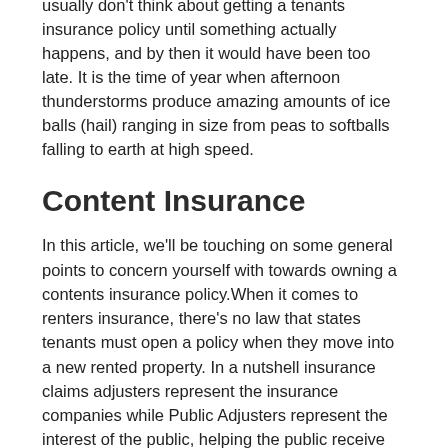usually don't think about getting a tenants insurance policy until something actually happens, and by then it would have been too late. It is the time of year when afternoon thunderstorms produce amazing amounts of ice balls (hail) ranging in size from peas to softballs falling to earth at high speed.
Content Insurance
In this article, we'll be touching on some general points to concern yourself with towards owning a contents insurance policy. When it comes to renters insurance, there's no law that states tenants must open a policy when they move into a new rented property. In a nutshell insurance claims adjusters represent the insurance companies while Public Adjusters represent the interest of the public, helping the public receive all that is coming to them in a property damage settlement. Lead was commonly